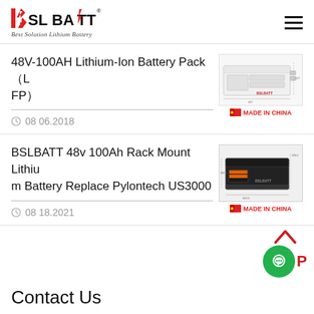[Figure (logo): BSLBATT logo with tagline 'Best Solution Lithium Battery']
48V-100AH Lithium-Ion Battery Pack（LFP）
08 06.2018
[Figure (photo): White rack-mount lithium battery unit with BSLBATT branding and dimension annotations]
MADE IN CHINA
BSLBATT 48v 100Ah Rack Mount Lithium Battery Replace Pylontech US3000
08 18.2021
[Figure (photo): Black rack-mount lithium battery unit with BSLBATT branding and dimension annotations (133.2, 132.5, 444.5)]
MADE IN CHINA
Contact Us